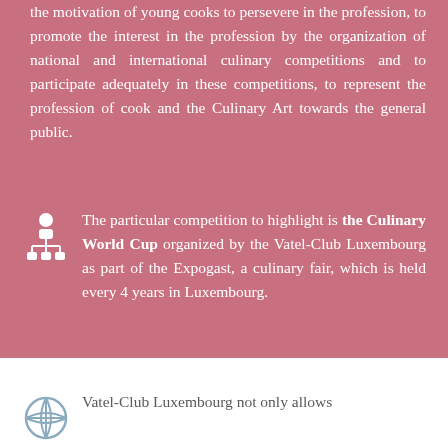the motivation of young cooks to persevere in the profession, to promote the interest in the profession by the organization of national and international culinary competitions and to participate adequately in these competitions, to represent the profession of cook and the Culinary Art towards the general public.
[Figure (illustration): White icon of a person with organizational chart nodes below, representing competition or organizational hierarchy]
The particular competition to highlight is the Culinary World Cup organized by the Vatel-Club Luxembourg as part of the Expogast, a culinary fair, which is held every 4 years in Luxembourg.
[Figure (illustration): White globe/network icon representing international scope]
Vatel-Club Luxembourg not only allows